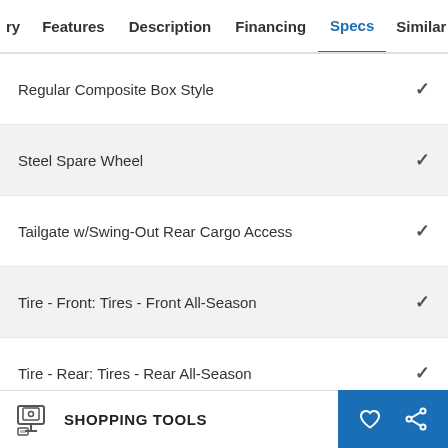ry  Features  Description  Financing  Specs  Similar
Regular Composite Box Style ✓
Steel Spare Wheel ✓
Tailgate w/Swing-Out Rear Cargo Access ✓
Tire - Front: Tires - Front All-Season ✓
Tire - Rear: Tires - Rear All-Season ✓
Tire - Spare: Temporary Spare Tire ✓
SHOPPING TOOLS